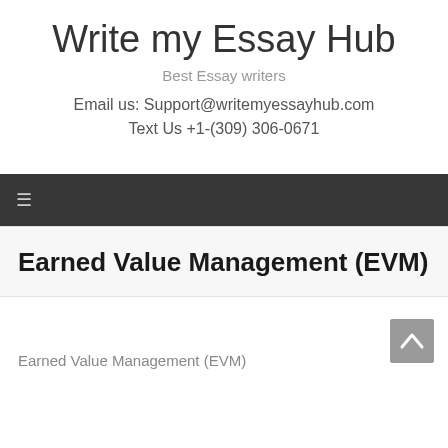Write my Essay Hub
Best Essay writers
Email us: Support@writemyessayhub.com
Text Us +1-(309) 306-0671
Earned Value Management (EVM)
Earned Value Management (EVM)